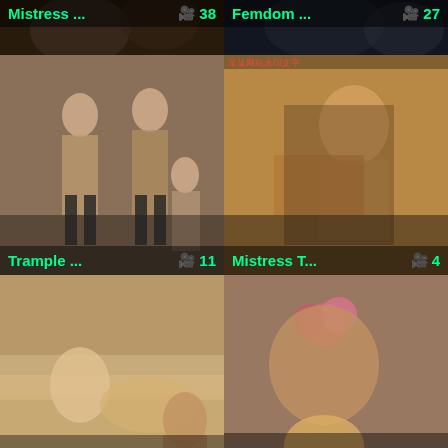[Figure (screenshot): Video thumbnail grid - top row partial: Mistress ... (38 videos), Femdom ... (27 videos)]
[Figure (screenshot): Trample ... (11 videos) thumbnail]
[Figure (screenshot): Mistress T... (4 videos) thumbnail]
[Figure (screenshot): bbw femd... (20 videos) thumbnail]
[Figure (screenshot): femdom ... (4 videos) thumbnail]
[Figure (screenshot): Bottom left partial thumbnail]
[Figure (screenshot): Bottom right partial thumbnail]